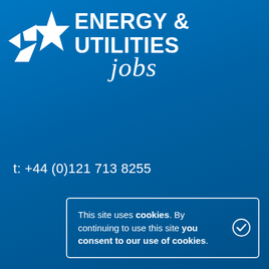[Figure (logo): Energy & Utilities Jobs logo with white star graphic and brand name text]
t: +44 (0)121 713 8255
This site uses cookies. By continuing to use this site you consent to our use of cookies.